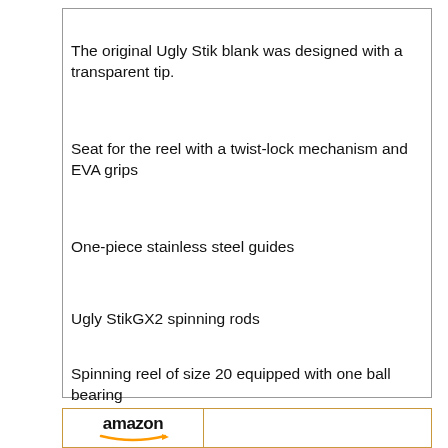The original Ugly Stik blank was designed with a transparent tip.
Seat for the reel with a twist-lock mechanism and EVA grips
One-piece stainless steel guides
Ugly StikGX2 spinning rods
Spinning reel of size 20 equipped with one ball bearing
[Figure (logo): Amazon logo with orange arrow beneath the word 'amazon']